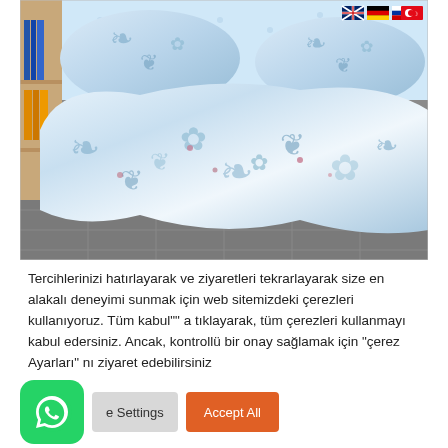[Figure (photo): Photo of blue and white damask patterned bedding set (duvet cover and pillows) arranged on a gray tiled floor, with a bookshelf visible in the top-left corner. Small flag icons (UK, German, Russian, Turkish) visible in top-right corner of the photo.]
Tercihlerinizi hatırlayarak ve ziyaretleri tekrarlayarak size en alakalı deneyimi sunmak için web sitemizdeki çerezleri kullanıyoruz. Tüm kabul"" a tıklayarak, tüm çerezleri kullanmayı kabul edersiniz. Ancak, kontrollü bir onay sağlamak için "çerez Ayarları" nı ziyaret edebilirsiniz
[Figure (logo): WhatsApp green rounded square logo button]
e Settings
Accept All